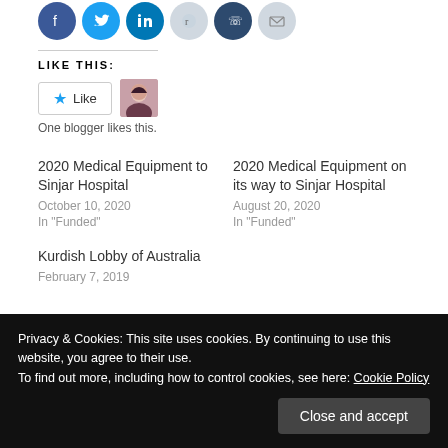[Figure (other): Row of social media share icons: Facebook (blue), Twitter (blue), LinkedIn (blue), Reddit (light grey), Phone/WhatsApp (dark blue), Email (light grey)]
LIKE THIS:
[Figure (other): Like button widget with star icon and 'Like' text, plus a small avatar photo of a blogger]
One blogger likes this.
2020 Medical Equipment to Sinjar Hospital
October 10, 2020
In "Funded"
2020 Medical Equipment on its way to Sinjar Hospital
August 20, 2020
In "Funded"
Kurdish Lobby of Australia
February 7, 2019
Privacy & Cookies: This site uses cookies. By continuing to use this website, you agree to their use.
To find out more, including how to control cookies, see here: Cookie Policy
Close and accept